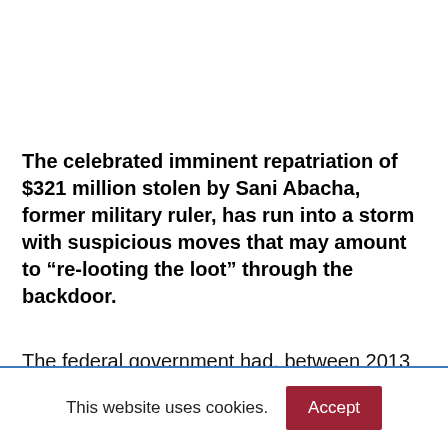The celebrated imminent repatriation of $321 million stolen by Sani Abacha, former military ruler, has run into a storm with suspicious moves that may amount to “re-looting the loot” through the backdoor.
The federal government had, between 2013 and 2014, used the services of Swiss lawyers, Enrico
This website uses cookies.